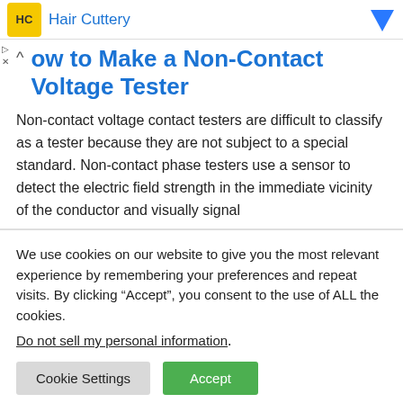[Figure (logo): Hair Cuttery advertisement banner with yellow HC logo and blue arrow icon]
How to Make a Non-Contact Voltage Tester
Non-contact voltage contact testers are difficult to classify as a tester because they are not subject to a special standard. Non-contact phase testers use a sensor to detect the electric field strength in the immediate vicinity of the conductor and visually signal
We use cookies on our website to give you the most relevant experience by remembering your preferences and repeat visits. By clicking “Accept”, you consent to the use of ALL the cookies.
Do not sell my personal information.